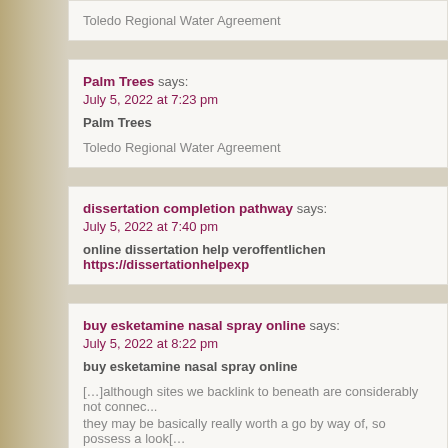Toledo Regional Water Agreement
Palm Trees says:
July 5, 2022 at 7:23 pm
Palm Trees

Toledo Regional Water Agreement
dissertation completion pathway says:
July 5, 2022 at 7:40 pm
online dissertation help veroffentlichen https://dissertationhelpexp...
buy esketamine nasal spray online says:
July 5, 2022 at 8:22 pm
buy esketamine nasal spray online

[...]although sites we backlink to beneath are considerably not connec... they may be basically really worth a go by way of, so possess a look[...